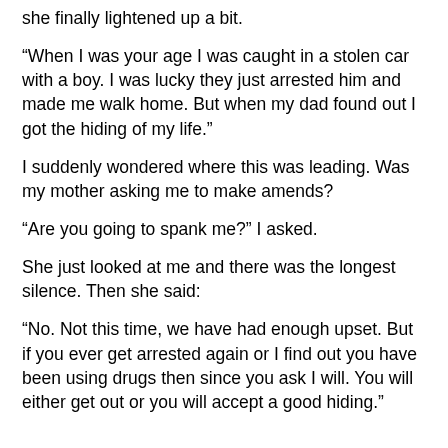she finally lightened up a bit.
“When I was your age I was caught in a stolen car with a boy. I was lucky they just arrested him and made me walk home. But when my dad found out I got the hiding of my life.”
I suddenly wondered where this was leading. Was my mother asking me to make amends?
“Are you going to spank me?” I asked.
She just looked at me and there was the longest silence. Then she said:
“No. Not this time, we have had enough upset. But if you ever get arrested again or I find out you have been using drugs then since you ask I will. You will either get out or you will accept a good hiding.”